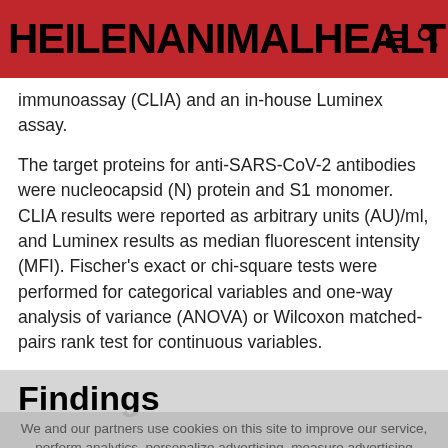HEILENANIMALHEALTH
immunoassay (CLIA) and an in-house Luminex assay.
The target proteins for anti-SARS-CoV-2 antibodies were nucleocapsid (N) protein and S1 monomer. CLIA results were reported as arbitrary units (AU)/ml, and Luminex results as median fluorescent intensity (MFI). Fischer's exact or chi-square tests were performed for categorical variables and one-way analysis of variance (ANOVA) or Wilcoxon matched-pairs rank test for continuous variables.
Findings
The researchers enrolled 70 patients hospitalized with COVID-19 at Lausanne University Hospital categorized 19 as mild cases, 29 as moderate cases,